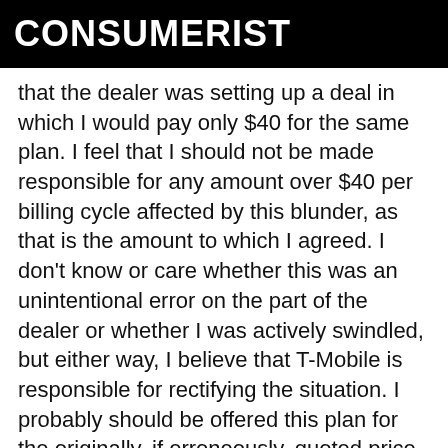CONSUMERIST
that the dealer was setting up a deal in which I would pay only $40 for the same plan. I feel that I should not be made responsible for any amount over $40 per billing cycle affected by this blunder, as that is the amount to which I agreed. I don't know or care whether this was an unintentional error on the part of the dealer or whether I was actively swindled, but either way, I believe that T-Mobile is responsible for rectifying the situation. I probably should be offered this plan for the originally, if erroneously, quoted price of $40. Otherwise, I would ideally like to